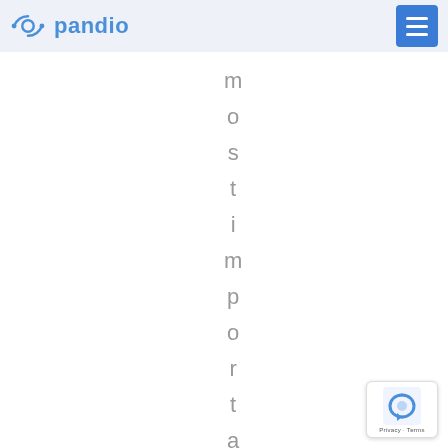pandio
m o s t i m p o r t a n t
[Figure (other): reCAPTCHA privacy badge with reCAPTCHA icon and 'Privacy - Terms' text]